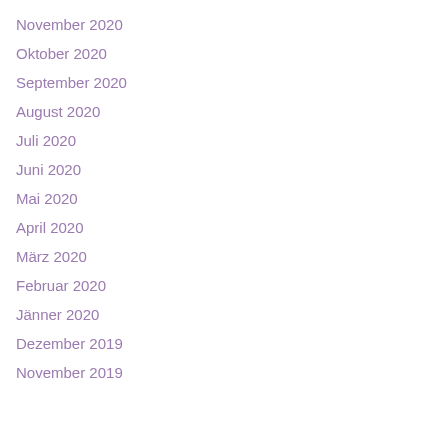November 2020
Oktober 2020
September 2020
August 2020
Juli 2020
Juni 2020
Mai 2020
April 2020
März 2020
Februar 2020
Jänner 2020
Dezember 2019
November 2019